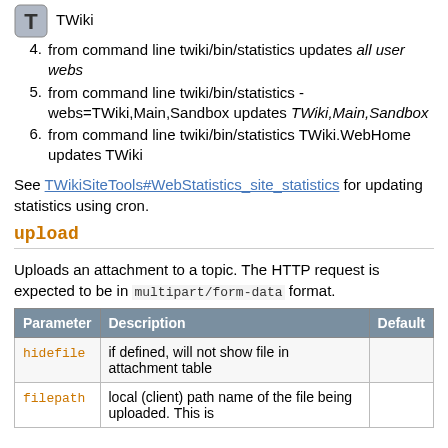TWiki
4. from command line twiki/bin/statistics updates all user webs
5. from command line twiki/bin/statistics -webs=TWiki,Main,Sandbox updates TWiki,Main,Sandbox
6. from command line twiki/bin/statistics TWiki.WebHome updates TWiki
See TWikiSiteTools#WebStatistics_site_statistics for updating statistics using cron.
upload
Uploads an attachment to a topic. The HTTP request is expected to be in multipart/form-data format.
| Parameter | Description | Default |
| --- | --- | --- |
| hidefile | if defined, will not show file in attachment table |  |
| filepath | local (client) path name of the file being uploaded. This is |  |